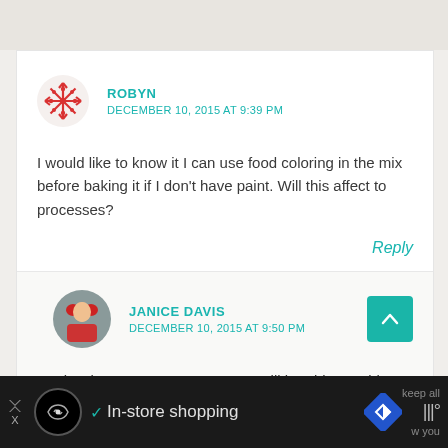ROBYN
DECEMBER 10, 2015 AT 9:39 PM
I would like to know it I can use food coloring in the mix before baking it if I don't have paint. Will this affect to processes?
Reply
JANICE DAVIS
DECEMBER 10, 2015 AT 9:50 PM
Hi Robyn, I am pretty sure you will be able to add food coloring